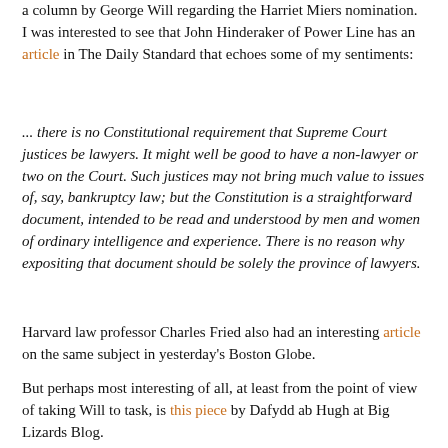a column by George Will regarding the Harriet Miers nomination. I was interested to see that John Hinderaker of Power Line has an article in The Daily Standard that echoes some of my sentiments:
... there is no Constitutional requirement that Supreme Court justices be lawyers. It might well be good to have a non-lawyer or two on the Court. Such justices may not bring much value to issues of, say, bankruptcy law; but the Constitution is a straightforward document, intended to be read and understood by men and women of ordinary intelligence and experience. There is no reason why expositing that document should be solely the province of lawyers.
Harvard law professor Charles Fried also had an interesting article on the same subject in yesterday's Boston Globe.
But perhaps most interesting of all, at least from the point of view of taking Will to task, is this piece by Dafydd ab Hugh at Big Lizards Blog.